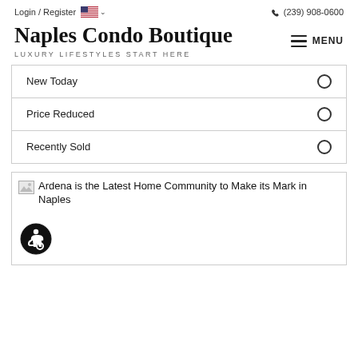Login / Register  🇺🇸 ∨  (239) 908-0600
Naples Condo Boutique
LUXURY LIFESTYLES START HERE
MENU
New Today
Price Reduced
Recently Sold
[Figure (screenshot): Article preview with broken image icon and title: Ardena is the Latest Home Community to Make its Mark in Naples]
[Figure (illustration): Accessibility icon - black circle with white wheelchair figure]